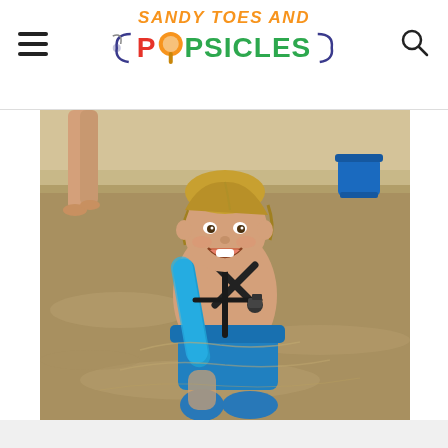Sandy Toes and Popsicles
[Figure (photo): A young smiling child with wet blonde hair sitting in shallow beach water, wearing blue swim shorts and a black harness with a blue flotation noodle. A blue bucket is visible in the background. Another person's legs are visible standing in the water.]